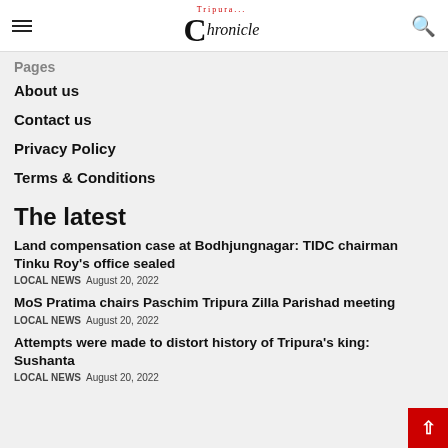Tripura Chronicle
About us
Contact us
Privacy Policy
Terms & Conditions
The latest
Land compensation case at Bodhjungnagar: TIDC chairman Tinku Roy's office sealed
LOCAL NEWS  August 20, 2022
MoS Pratima chairs Paschim Tripura Zilla Parishad meeting
LOCAL NEWS  August 20, 2022
Attempts were made to distort history of Tripura's king: Sushanta
LOCAL NEWS  August 20, 2022